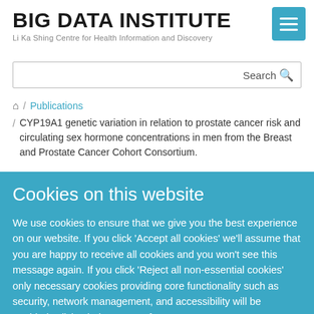BIG DATA INSTITUTE
Li Ka Shing Centre for Health Information and Discovery
Search
/ Publications / CYP19A1 genetic variation in relation to prostate cancer risk and circulating sex hormone concentrations in men from the Breast and Prostate Cancer Cohort Consortium.
Cookies on this website
We use cookies to ensure that we give you the best experience on our website. If you click 'Accept all cookies' we'll assume that you are happy to receive all cookies and you won't see this message again. If you click 'Reject all non-essential cookies' only necessary cookies providing core functionality such as security, network management, and accessibility will be enabled. Click 'Find out more' for information about our cookie policy and settings.